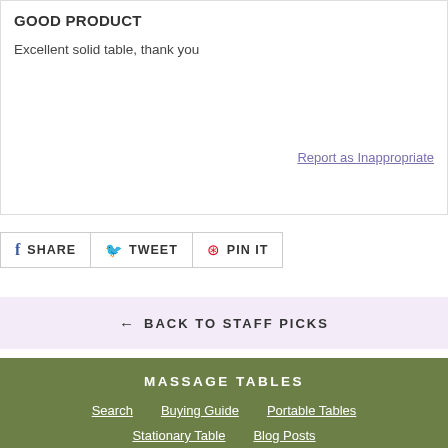GOOD PRODUCT
Excellent solid table, thank you
Report as Inappropriate
SHARE  TWEET  PIN IT
← BACK TO STAFF PICKS
MASSAGE TABLES
Search
Buying Guide
Portable Tables
Stationary Table
Blog Posts